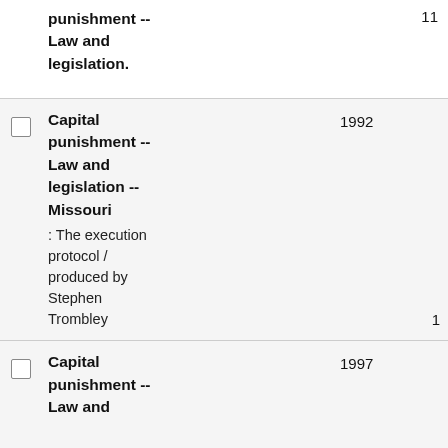punishment -- Law and legislation.  11
Capital punishment -- Law and legislation -- Missouri : The execution protocol / produced by Stephen Trombley  1992  1
Capital punishment -- Law and legislation  1997